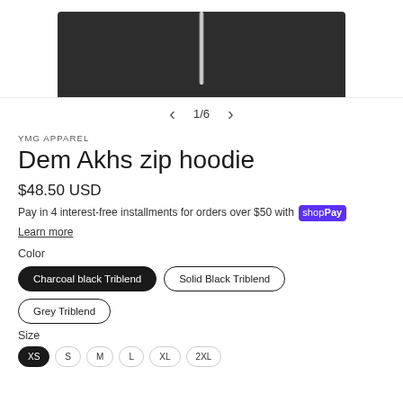[Figure (photo): Partial view of a dark charcoal/black zip hoodie with a visible zipper down the center, shown cropped at the top]
1/6
YMG APPAREL
Dem Akhs zip hoodie
$48.50 USD
Pay in 4 interest-free installments for orders over $50 with Shop Pay
Learn more
Color
Charcoal black Triblend
Solid Black Triblend
Grey Triblend
Size